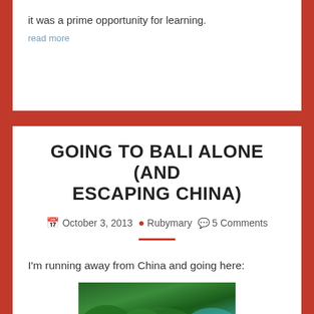it was a prime opportunity for learning.
read more
GOING TO BALI ALONE (AND ESCAPING CHINA)
October 3, 2013  Rubymary  5 Comments
I'm running away from China and going here:
[Figure (photo): Tropical green jungle/forest scene, possibly Bali, partially visible at bottom of page]